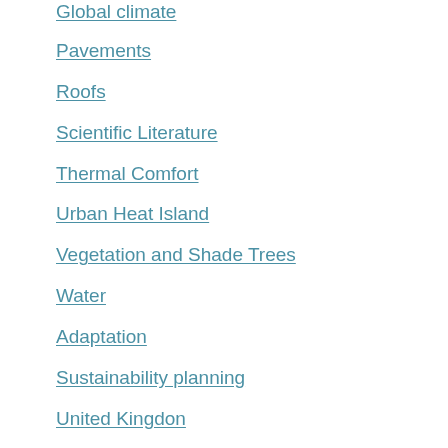Global climate
Pavements
Roofs
Scientific Literature
Thermal Comfort
Urban Heat Island
Vegetation and Shade Trees
Water
Adaptation
Sustainability planning
United Kingdon
Urban planning